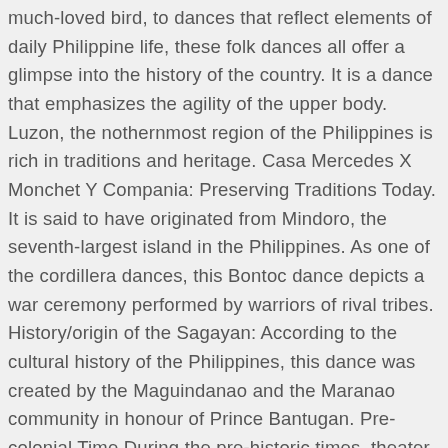much-loved bird, to dances that reflect elements of daily Philippine life, these folk dances all offer a glimpse into the history of the country. It is a dance that emphasizes the agility of the upper body. Luzon, the nothernmost region of the Philippines is rich in traditions and heritage. Casa Mercedes X Monchet Y Compania: Preserving Traditions Today. It is said to have originated from Mindoro, the seventh-largest island in the Philippines. As one of the cordillera dances, this Bontoc dance depicts a war ceremony performed by warriors of rival tribes. History/origin of the Sagayan: According to the cultural history of the Philippines, this dance was created by the Maguindanao and the Maranao community in honour of Prince Bantugan. Pre-colonial Time During the pre-historic times, theater in the Philippines was in the form of indigenous rituals, verbal jousts or games, or songs and dances to praise gods. Philippine folk dance carinosa the history of dancing in philippines sutori the history of dancing in philippines sutori brochures philippine barang folk dance troupe bayanihan dance pany cultural center of the philippines. The